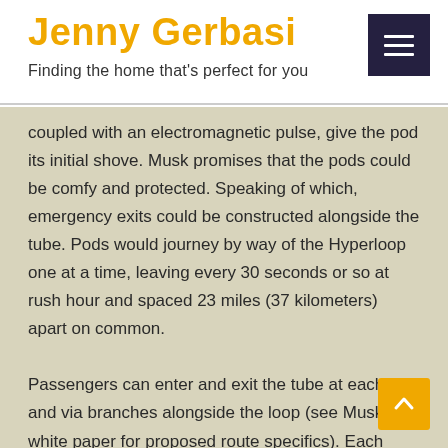Jenny Gerbasi
Finding the home that's perfect for you
coupled with an electromagnetic pulse, give the pod its initial shove. Musk promises that the pods could be comfy and protected. Speaking of which, emergency exits could be constructed alongside the tube. Pods would journey by way of the Hyperloop one at a time, leaving every 30 seconds or so at rush hour and spaced 23 miles (37 kilometers) apart on common.
Passengers can enter and exit the tube at each end and via branches alongside the loop (see Musk's white paper for proposed route specifics). Each passenger pod is